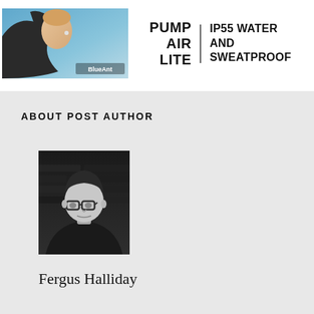[Figure (photo): BlueAnt Pump Air Lite advertisement banner. Left side shows a woman with earbuds against a blue sky background with 'BlueAnt' label. Right side shows text 'PUMP AIR LITE' with a vertical bar and 'IP55 WATER AND SWEATPROOF'.]
ABOUT POST AUTHOR
[Figure (photo): Black and white portrait photo of a young man with glasses and short dark hair against a dark brick wall background.]
Fergus Halliday